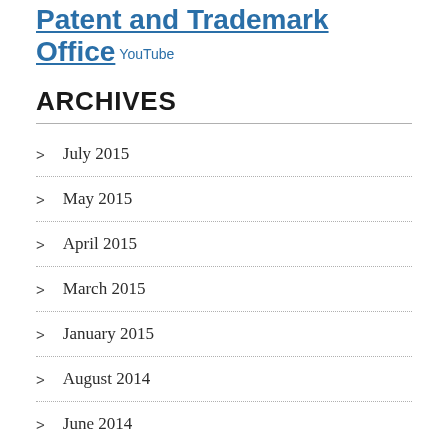Patent and Trademark Office YouTube
ARCHIVES
July 2015
May 2015
April 2015
March 2015
January 2015
August 2014
June 2014